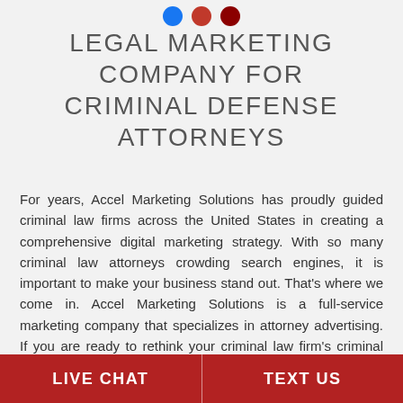[Figure (other): Three colored circle icons at top of page (blue, red, dark red)]
LEGAL MARKETING COMPANY FOR CRIMINAL DEFENSE ATTORNEYS
For years, Accel Marketing Solutions has proudly guided criminal law firms across the United States in creating a comprehensive digital marketing strategy. With so many criminal law attorneys crowding search engines, it is important to make your business stand out. That's where we come in. Accel Marketing Solutions is a full-service marketing company that specializes in attorney advertising. If you are ready to rethink your criminal law firm's criminal marketing strategy, we are ready to help. For a free site
LIVE CHAT   TEXT US